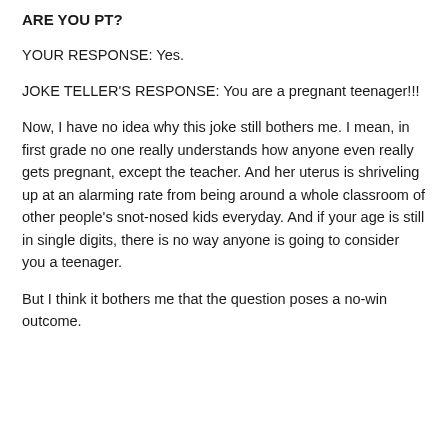ARE YOU PT?
YOUR RESPONSE: Yes.
JOKE TELLER'S RESPONSE: You are a pregnant teenager!!!
Now, I have no idea why this joke still bothers me. I mean, in first grade no one really understands how anyone even really gets pregnant, except the teacher. And her uterus is shriveling up at an alarming rate from being around a whole classroom of other people's snot-nosed kids everyday. And if your age is still in single digits, there is no way anyone is going to consider you a teenager.
But I think it bothers me that the question poses a no-win outcome.